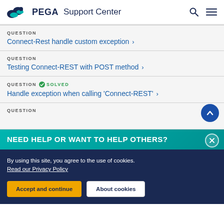PEGA Support Center
QUESTION
Connect-Rest handle custom exception
QUESTION
Testing Connect-REST with POST method
QUESTION SOLVED
Handle exception when calling 'Connect-REST'
QUESTION
NEED HELP OR WANT TO HELP OTHERS?
By using this site, you agree to the use of cookies. Read our Privacy Policy
Accept and continue   About cookies